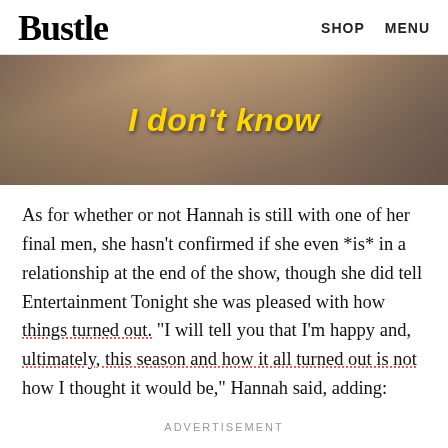Bustle   SHOP   MENU
[Figure (screenshot): Video still from The Bachelorette showing a woman in a pink outfit with yellow bold italic text overlay reading 'I don't know']
As for whether or not Hannah is still with one of her final men, she hasn't confirmed if she even *is* in a relationship at the end of the show, though she did tell Entertainment Tonight she was pleased with how things turned out. "I will tell you that I'm happy and, ultimately, this season and how it all turned out is not how I thought it would be," Hannah said, adding:
ADVERTISEMENT